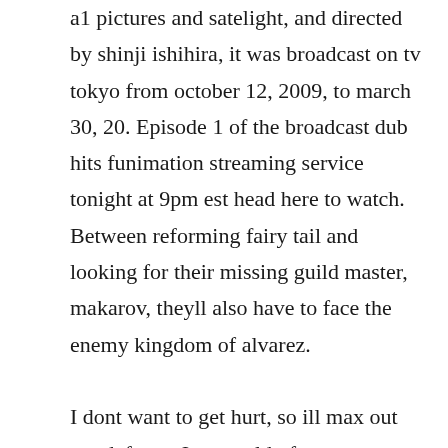a1 pictures and satelight, and directed by shinji ishihira, it was broadcast on tv tokyo from october 12, 2009, to march 30, 20. Episode 1 of the broadcast dub hits funimation streaming service tonight at 9pm est head here to watch. Between reforming fairy tail and looking for their missing guild master, makarov, theyll also have to face the enemy kingdom of alvarez.

I dont want to get hurt, so ill max out my defense. In a world of constant war between humans and witches, there exist the